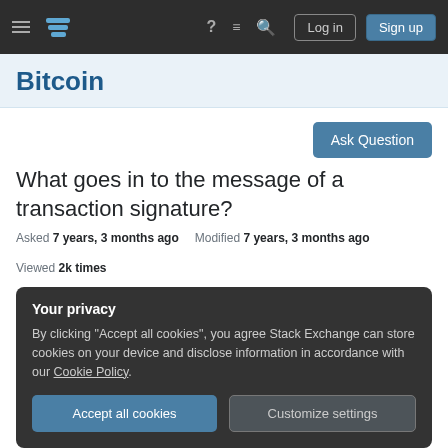Stack Exchange Bitcoin — navigation bar with hamburger menu, logo, help, chat, search icons, Log in and Sign up buttons
Bitcoin
Ask Question
What goes in to the message of a transaction signature?
Asked 7 years, 3 months ago   Modified 7 years, 3 months ago   Viewed 2k times
Your privacy
By clicking "Accept all cookies", you agree Stack Exchange can store cookies on your device and disclose information in accordance with our Cookie Policy.
Accept all cookies   Customize settings
Here's my unsigned transaction: